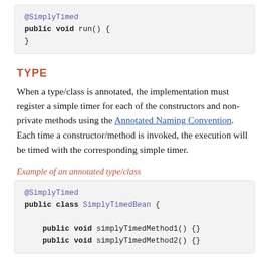@SimplyTimed
public void run() {
}
TYPE
When a type/class is annotated, the implementation must register a simple timer for each of the constructors and non-private methods using the Annotated Naming Convention. Each time a constructor/method is invoked, the execution will be timed with the corresponding simple timer.
Example of an annotated type/class
@SimplyTimed
public class SimplyTimedBean {

    public void simplyTimedMethod1() {}
    public void simplyTimedMethod2() {}